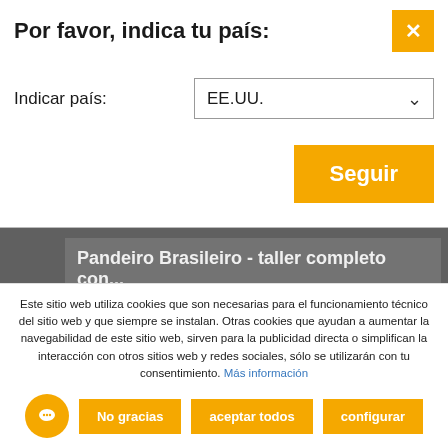Por favor, indica tu país:
Indicar país:
EE.UU.
Seguir
Pandeiro Brasileiro - taller completo con...
39,00 € *
Este sitio web utiliza cookies que son necesarias para el funcionamiento técnico del sitio web y que siempre se instalan. Otras cookies que ayudan a aumentar la navegabilidad de este sitio web, sirven para la publicidad directa o simplifican la interacción con otros sitios web y redes sociales, sólo se utilizarán con tu consentimiento. Más información
No gracias
aceptar todos
configurar